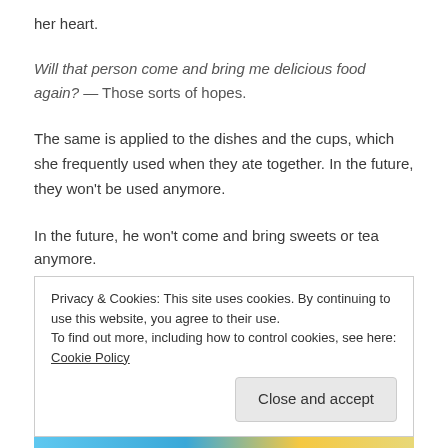her heart.
Will that person come and bring me delicious food again? — Those sorts of hopes.
The same is applied to the dishes and the cups, which she frequently used when they ate together. In the future, they won't be used anymore.
In the future, he won't come and bring sweets or tea anymore.
Privacy & Cookies: This site uses cookies. By continuing to use this website, you agree to their use.
To find out more, including how to control cookies, see here: Cookie Policy
[Close and accept]
[Figure (illustration): Partial colorful illustration visible at bottom of page]
In thi...